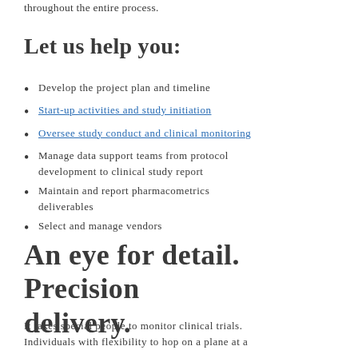throughout the entire process.
Let us help you:
Develop the project plan and timeline
Start-up activities and study initiation
Oversee study conduct and clinical monitoring
Manage data support teams from protocol development to clinical study report
Maintain and report pharmacometrics deliverables
Select and manage vendors
An eye for detail. Precision delivery.
It takes special people to monitor clinical trials. Individuals with flexibility to hop on a plane at a